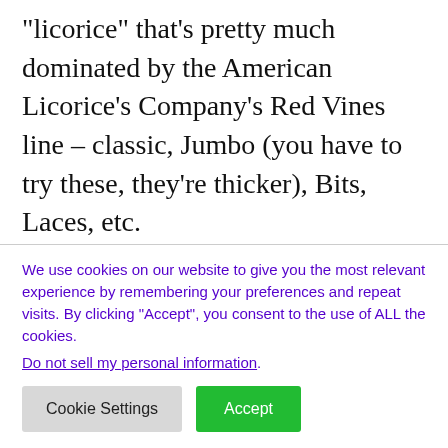“licorice” that’s pretty much dominated by the American Licorice’s Company’s Red Vines line – classic, Jumbo (you have to try these, they’re thicker), Bits, Laces, etc.

But what’s a brother to do it he wants a flavored twist? I started reminiscing with a co-worker about grape Red Vines, which I’d
We use cookies on our website to give you the most relevant experience by remembering your preferences and repeat visits. By clicking “Accept”, you consent to the use of ALL the cookies. Do not sell my personal information.